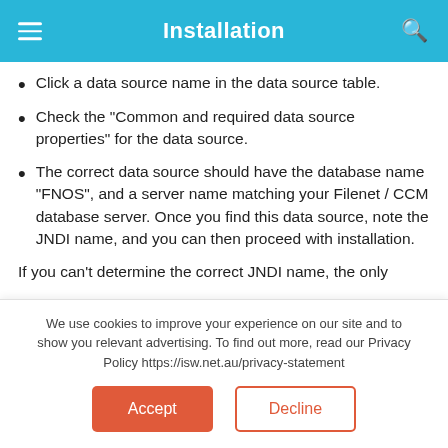Installation
Click a data source name in the data source table.
Check the "Common and required data source properties" for the data source.
The correct data source should have the database name "FNOS", and a server name matching your Filenet / CCM database server. Once you find this data source, note the JNDI name, and you can then proceed with installation.
If you can't determine the correct JNDI name, the only
We use cookies to improve your experience on our site and to show you relevant advertising. To find out more, read our Privacy Policy https://isw.net.au/privacy-statement